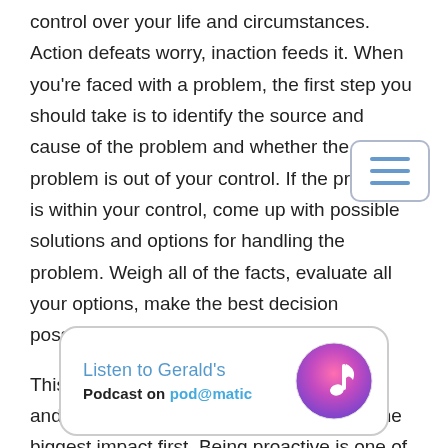control over your life and circumstances. Action defeats worry, inaction feeds it. When you're faced with a problem, the first step you should take is to identify the source and cause of the problem and whether the problem is out of your control. If the problem is within your control, come up with possible solutions and options for handling the problem. Weigh all of the facts, evaluate all your options, make the best decision possible, and then take action.

This is all you can do. Prioritize your effort and your energy on the things that make the biggest impact first. Being proactive is one of the most effective ways to combat worry.
[Figure (other): Banner advertisement: 'Listen to Gerald's Podcast on podomatic' with a music note icon in a gradient circle on the right.]